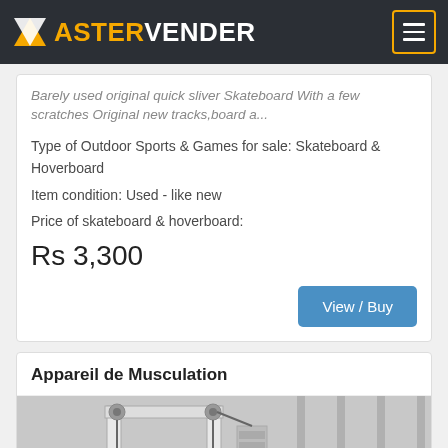ASTERVENDER
Barely used original quick sliver Skateboard With a few scratches Original new tracks,board a...
Type of Outdoor Sports & Games for sale: Skateboard & Hoverboard
Item condition: Used - like new
Price of skateboard & hoverboard:
Rs 3,300
View / Buy
Appareil de Musculation
[Figure (photo): Photo of a white metal gym/weight machine (appareil de musculation) against a light background, showing pulleys, cables, and structural frame.]